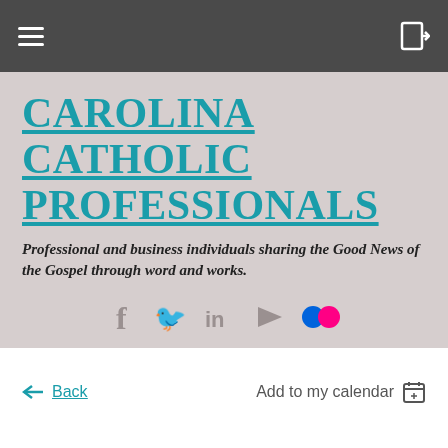Carolina Catholic Professionals - navigation bar
CAROLINA CATHOLIC PROFESSIONALS
Professional and business individuals sharing the Good News of the Gospel through word and works.
[Figure (infographic): Social media icons: Facebook, Twitter, LinkedIn, YouTube, Flickr]
Cart
[Figure (infographic): LinkedIn Share button]
Back
Add to my calendar